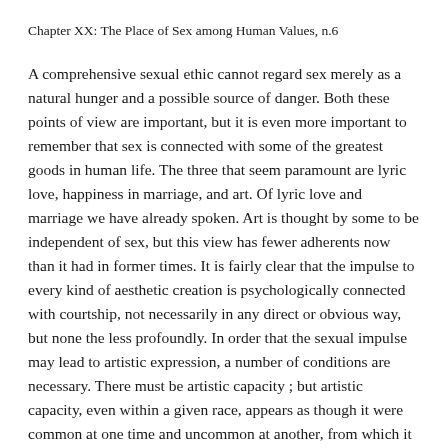Chapter XX: The Place of Sex among Human Values, n.6
A comprehensive sexual ethic cannot regard sex merely as a natural hunger and a possible source of danger. Both these points of view are important, but it is even more important to remember that sex is connected with some of the greatest goods in human life. The three that seem paramount are lyric love, happiness in marriage, and art. Of lyric love and marriage we have already spoken. Art is thought by some to be independent of sex, but this view has fewer adherents now than it had in former times. It is fairly clear that the impulse to every kind of aesthetic creation is psychologically connected with courtship, not necessarily in any direct or obvious way, but none the less profoundly. In order that the sexual impulse may lead to artistic expression, a number of conditions are necessary. There must be artistic capacity ; but artistic capacity, even within a given race, appears as though it were common at one time and uncommon at another, from which it is safe to conclude that environment, as opposed to native